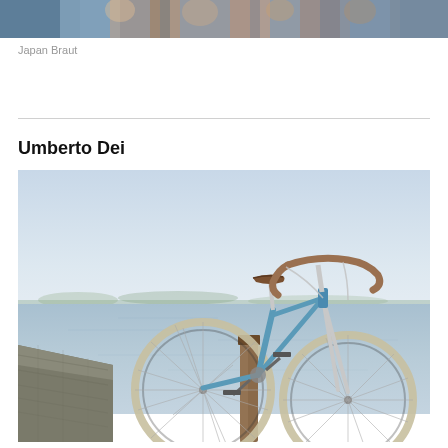[Figure (photo): Top banner photo showing people in colorful traditional Japanese attire]
Japan Braut
Umberto Dei
[Figure (photo): A classic blue racing bicycle (Umberto Dei) leaning against a wooden dock post by a calm lake, with a stone pier visible on the left side]